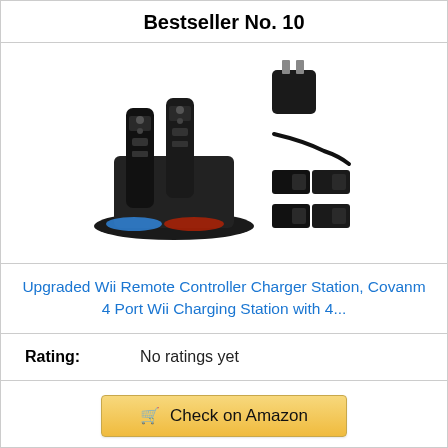Bestseller No. 10
[Figure (photo): Wii Remote Controller Charger Station product photo showing charging dock with two Wii remotes inserted, plus accessories including power adapter, USB cable, and battery packs]
Upgraded Wii Remote Controller Charger Station, Covanm 4 Port Wii Charging Station with 4...
Rating: No ratings yet
Check on Amazon